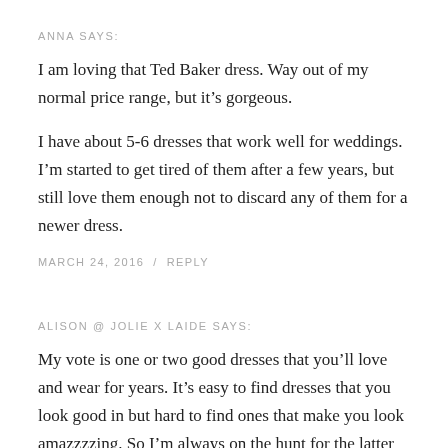ANNA SAYS:
I am loving that Ted Baker dress. Way out of my normal price range, but it’s gorgeous.
I have about 5-6 dresses that work well for weddings. I’m started to get tired of them after a few years, but still love them enough not to discard any of them for a newer dress.
MARCH 24, 2016  /  REPLY
ALISON @ JOLIE X LAIDE SAYS:
My vote is one or two good dresses that you’ll love and wear for years. It’s easy to find dresses that you look good in but hard to find ones that make you look amazzzzing. So I’m always on the hunt for the latter because when you show up at those